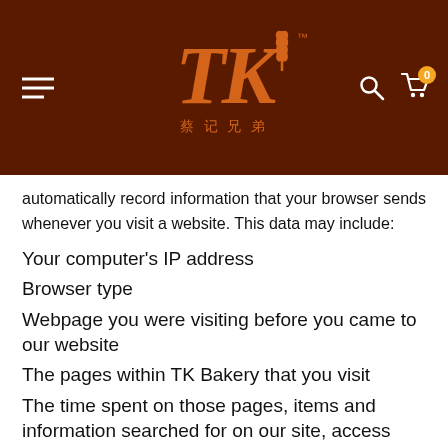[Figure (logo): TK Bakery logo — stylized orange TK letters with wheat icon and Chinese characters on dark brown background, with hamburger menu, search and cart icons]
automatically record information that your browser sends whenever you visit a website. This data may include:
Your computer's IP address
Browser type
Webpage you were visiting before you came to our website
The pages within TK Bakery that you visit
The time spent on those pages, items and information searched for on our site, access times and dates, and other statistics
This information is collected for analysis and evaluation in order to help us improve our website and the services and products we provide. This data will not be used in association with any other personal information